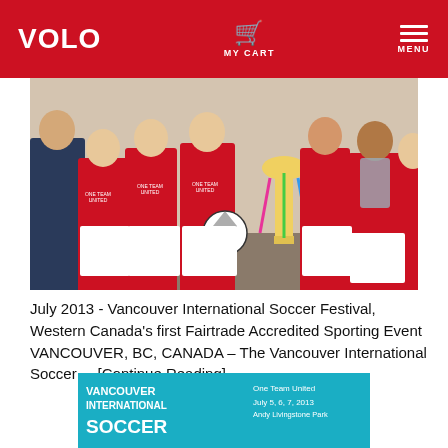VOLO | MY CART | MENU
[Figure (photo): Group photo of soccer team wearing red 'One Team United' jerseys, holding a trophy and a soccer ball, outdoors.]
July 2013 - Vancouver International Soccer Festival, Western Canada's first Fairtrade Accredited Sporting Event VANCOUVER, BC, CANADA – The Vancouver International Soccer ... [Continue Reading]
[Figure (infographic): Vancouver International Soccer promotional banner in teal/blue. Text: 'VANCOUVER INTERNATIONAL SOCCER', 'One Team United', 'July 5, 6, 7, 2013', 'Andy Livingstone Park']